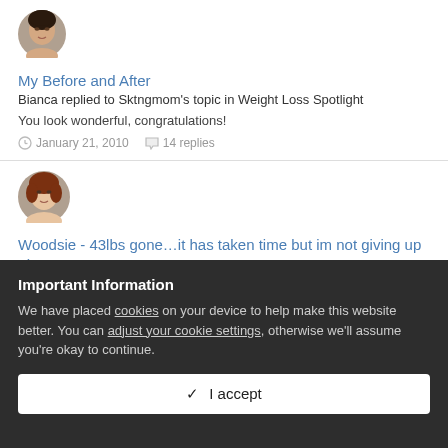[Figure (photo): Circular avatar photo of a woman with dark hair]
My Before and After
Bianca replied to Sktngmom's topic in Weight Loss Spotlight
You look wonderful, congratulations!
January 21, 2010    14 replies
[Figure (photo): Circular avatar photo of a woman with auburn hair]
Woodsie - 43lbs gone…it has taken time but im not giving up :-)
Bianca replied to GW's topic in Weight Loss Spotlight
Important Information
We have placed cookies on your device to help make this website better. You can adjust your cookie settings, otherwise we'll assume you're okay to continue.
✓  I accept